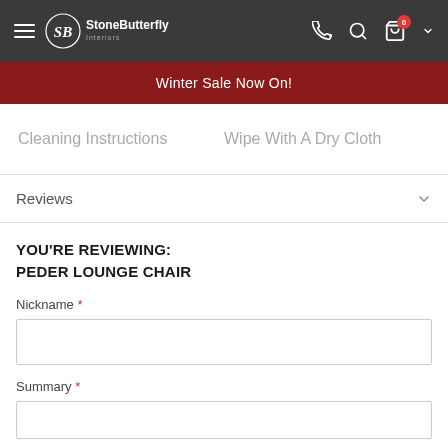StoneButterfly — Hamburger menu, phone, search, cart (0), chevron
Winter Sale Now On!
| Cleaning Instructions | Wipe With A Dry Cloth |
| --- | --- |
Reviews
YOU'RE REVIEWING:
PEDER LOUNGE CHAIR
Nickname *
Summary *